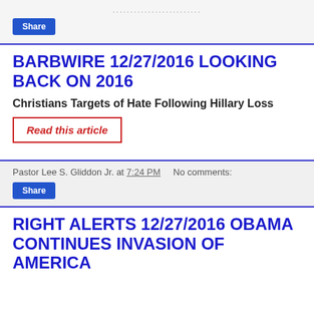......................
Share
BARBWIRE 12/27/2016 LOOKING BACK ON 2016
Christians Targets of Hate Following Hillary Loss
Read this article
Pastor Lee S. Gliddon Jr. at 7:24 PM    No comments:
Share
RIGHT ALERTS 12/27/2016 OBAMA CONTINUES INVASION OF AMERICA